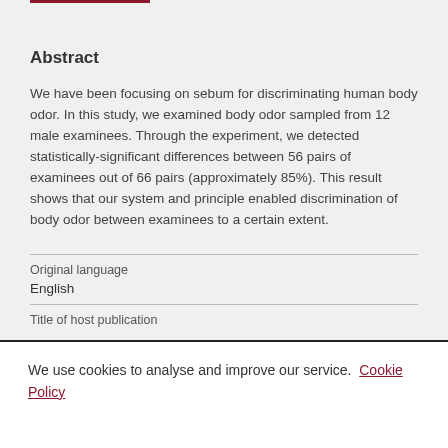Abstract
We have been focusing on sebum for discriminating human body odor. In this study, we examined body odor sampled from 12 male examinees. Through the experiment, we detected statistically-significant differences between 56 pairs of examinees out of 66 pairs (approximately 85%). This result shows that our system and principle enabled discrimination of body odor between examinees to a certain extent.
Original language
English
Title of host publication
We use cookies to analyse and improve our service. Cookie Policy